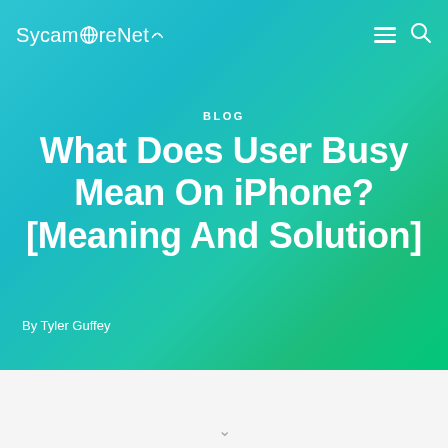SycamoreNet
BLOG
What Does User Busy Mean On iPhone? [Meaning And Solution]
By Tyler Guffey